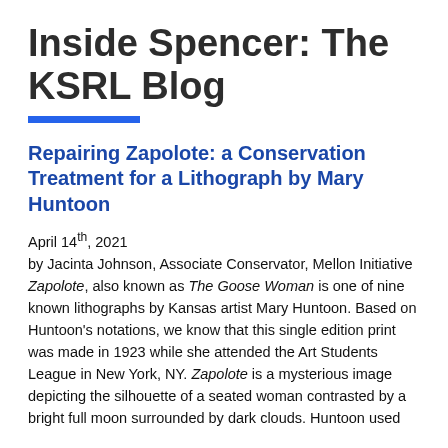Inside Spencer: The KSRL Blog
Repairing Zapolote: a Conservation Treatment for a Lithograph by Mary Huntoon
April 14th, 2021
by Jacinta Johnson, Associate Conservator, Mellon Initiative
Zapolote, also known as The Goose Woman is one of nine known lithographs by Kansas artist Mary Huntoon. Based on Huntoon’s notations, we know that this single edition print was made in 1923 while she attended the Art Students League in New York, NY. Zapolote is a mysterious image depicting the silhouette of a seated woman contrasted by a bright full moon surrounded by dark clouds. Huntoon used